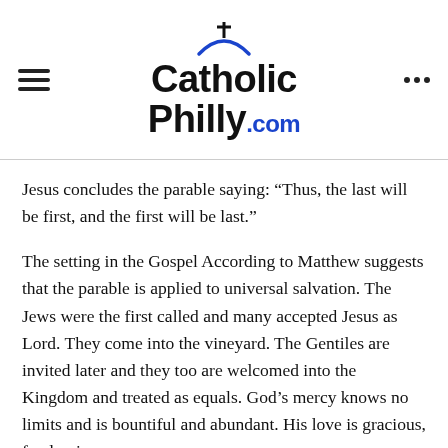CatholicPhilly.com
Jesus concludes the parable saying: “Thus, the last will be first, and the first will be last.”
The setting in the Gospel According to Matthew suggests that the parable is applied to universal salvation. The Jews were the first called and many accepted Jesus as Lord. They come into the vineyard. The Gentiles are invited later and they too are welcomed into the Kingdom and treated as equals. God’s mercy knows no limits and is bountiful and abundant. His love is gracious, freely given.
God’s graciousness is at the heart of the parable. God wants us to be saved. He wants us to enter his Kingdom. He invites all to share in the life of the Kingdom. The landowner is the one who